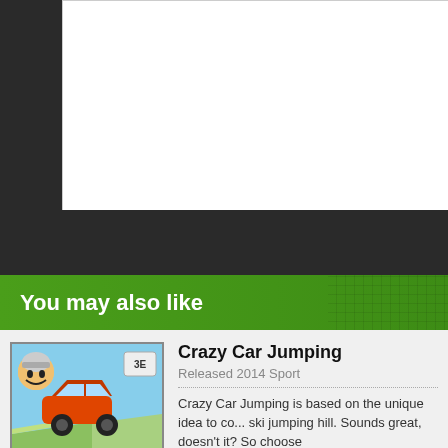You may also like
Crazy Car Jumping
Released 2014 Sport
Crazy Car Jumping is based on the unique idea to co... ski jumping hill. Sounds great, doesn't it? So choose...
Sk8r Trix Game™
Released 2016 Sport
In this FREE game by Anti Eye Craft Gaming™ grab... through the city! Play as three different characters ar...